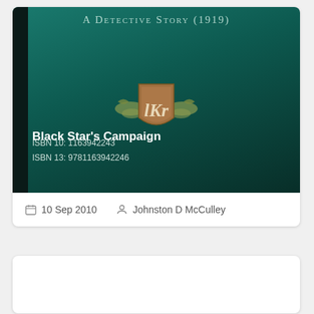[Figure (illustration): Book cover for 'Black Star's Campaign: A Detective Story (1919)' on a dark teal/green background with a heraldic shield logo bearing the letters LKR, title text at top reading 'A Detective Story (1919)', and book metadata showing ISBN 10: 1163942243 and ISBN 13: 9781163942246]
Black Star's Campaign
ISBN 10: 1163942243
ISBN 13: 9781163942246
10 Sep 2010   Johnston D McCulley